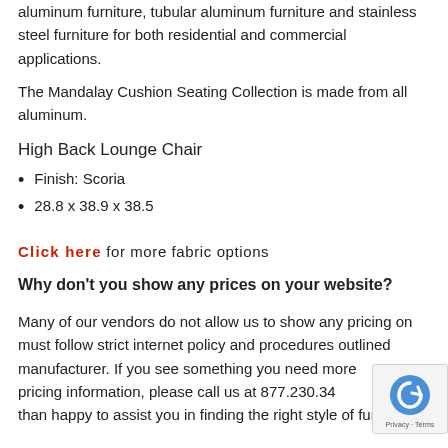aluminum furniture, tubular aluminum furniture and stainless steel furniture for both residential and commercial applications.
The Mandalay Cushion Seating Collection is made from all aluminum.
High Back Lounge Chair
Finish: Scoria
28.8 x 38.9 x 38.5
Click here for more fabric options
Why don't you show any prices on your website?
Many of our vendors do not allow us to show any pricing on must follow strict internet policy and procedures outlined by the manufacturer. If you see something you need more pricing information, please call us at 877.230.34 than happy to assist you in finding the right style of furniture.